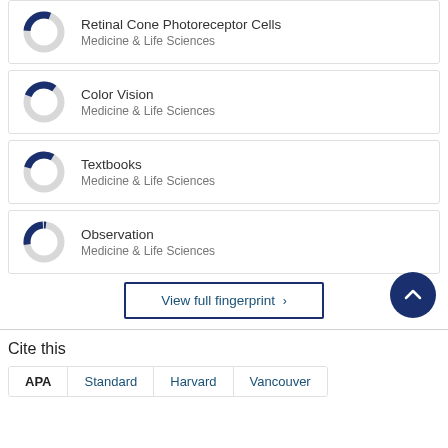[Figure (donut-chart): Small donut chart with dark blue filled segment (~30%), rest grey. Associated with 'Retinal Cone Photoreceptor Cells']
Retinal Cone Photoreceptor Cells
Medicine & Life Sciences
[Figure (donut-chart): Small donut chart with dark blue filled segment (~35%), rest grey. Associated with 'Color Vision']
Color Vision
Medicine & Life Sciences
[Figure (donut-chart): Small donut chart with dark blue filled segment (~35%), rest grey. Associated with 'Textbooks']
Textbooks
Medicine & Life Sciences
[Figure (donut-chart): Small donut chart with dark blue filled segment (~25%), rest grey. Associated with 'Observation']
Observation
Medicine & Life Sciences
View full fingerprint ›
Cite this
APA | Standard | Harvard | Vancouver